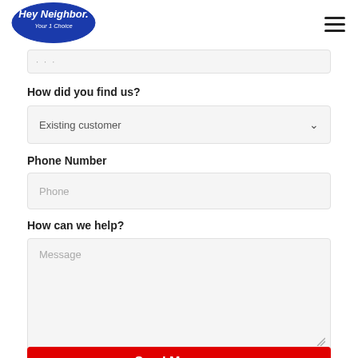[Figure (logo): Hey Neighbor Your 1 Choice logo — white script text on blue oval]
···
How did you find us?
Existing customer
Phone Number
Phone
How can we help?
Message
Send Message